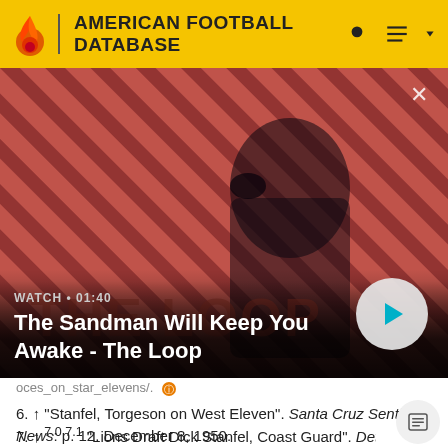AMERICAN FOOTBALL DATABASE
[Figure (screenshot): Video thumbnail showing a dark-cloaked figure with a raven on shoulder against a red diagonal stripe background. Overlay shows WATCH • 01:40 and title 'The Sandman Will Keep You Awake - The Loop' with a play button circle on the right.]
oces_on_star_elevens/.
6. ↑ "Stanfel, Torgeson on West Eleven". Santa Cruz Sentinel-News: p. 12. December 8, 1950. https://www.newspapers.com/clip/4248720/stanfel_torgeson_on_west_eleven/.
7. ↑ 7.0 7.1 "Lions Draft Dick Stanfel, Coast Guard". Detroit